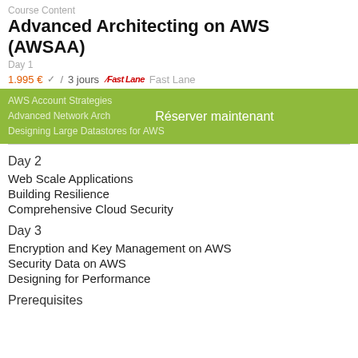Course Content
Advanced Architecting on AWS (AWSAA)
Day 1
1.995 € ✓  /  3 jours   Fast Lane   Fast Lane
AWS Account Strategies
Advanced Network Arch  Réserver maintenant
Designing Large Datastores for AWS
Day 2
Web Scale Applications
Building Resilience
Comprehensive Cloud Security
Day 3
Encryption and Key Management on AWS
Security Data on AWS
Designing for Performance
Prerequisites